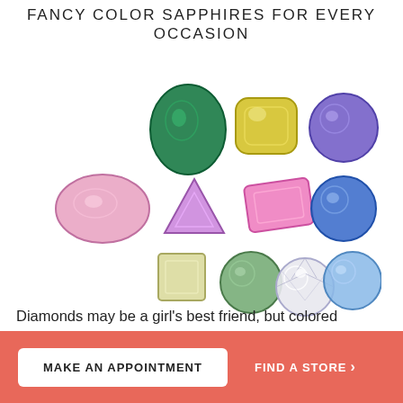FANCY COLOR SAPPHIRES FOR EVERY OCCASION
[Figure (photo): A collection of 11 colorful faceted gemstones displayed on a white background including green, yellow, purple, blue, pink, light green, light yellow square, white/clear, and light blue colored stones of various cuts (round, oval, cushion, emerald, trillion).]
Diamonds may be a girl's best friend, but colored gemstones are a fab way to show that your love is out-of-this-world
MAKE AN APPOINTMENT
FIND A STORE